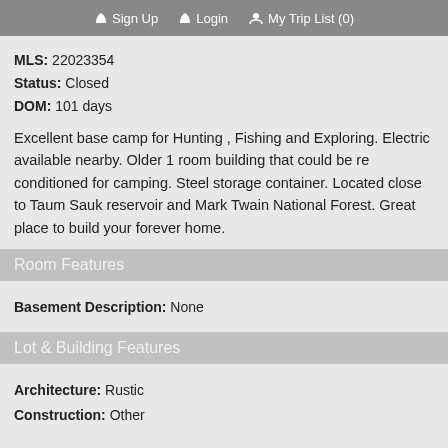Sign Up   Login   My Trip List (0)
MLS: 22023354
Status: Closed
DOM: 101 days
Excellent base camp for Hunting , Fishing and Exploring. Electric available nearby. Older 1 room building that could be re conditioned for camping. Steel storage container. Located close to Taum Sauk reservoir and Mark Twain National Forest. Great place to build your forever home.
Room Features
Basement Description: None
Lot & Building Features
Architecture: Rustic
Construction: Other